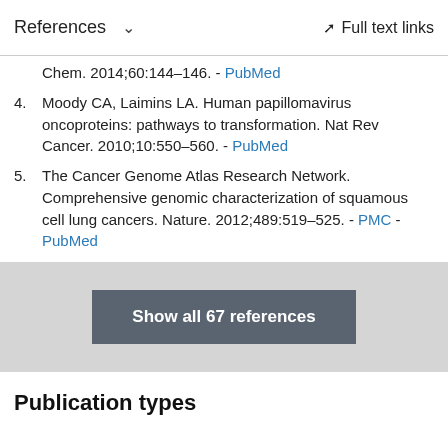References   ∨   Full text links
Chem. 2014;60:144–146. - PubMed
4. Moody CA, Laimins LA. Human papillomavirus oncoproteins: pathways to transformation. Nat Rev Cancer. 2010;10:550–560. - PubMed
5. The Cancer Genome Atlas Research Network. Comprehensive genomic characterization of squamous cell lung cancers. Nature. 2012;489:519–525. - PMC - PubMed
Show all 67 references
Publication types